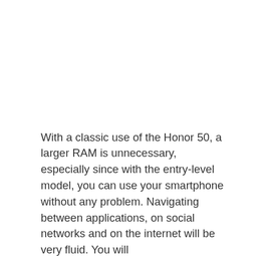With a classic use of the Honor 50, a larger RAM is unnecessary, especially since with the entry-level model, you can use your smartphone without any problem. Navigating between applications, on social networks and on the internet will be very fluid. You will